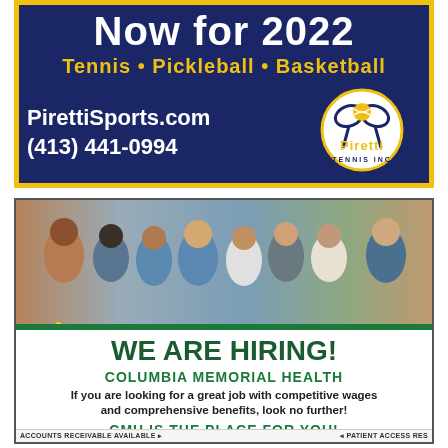[Figure (advertisement): Piretti Sports advertisement with dark navy background and yellow border. Text: 'Now for 2022', 'Tennis • Pickleball • Basketball', 'PirettiSports.com', '(413) 441-0994', Piretti Tennis Inc logo with tennis rackets and ball.]
[Figure (advertisement): Columbia Memorial Health hiring advertisement. Top half features a group photo of smiling healthcare workers in scrubs and professional attire. Lower half on white background reads: 'WE ARE HIRING!', 'COLUMBIA MEMORIAL HEALTH', 'If you are looking for a great job with competitive wages and comprehensive benefits, look no further!', 'CMH IS THE PLACE FOR YOU!', with partial text at bottom about positions available.]